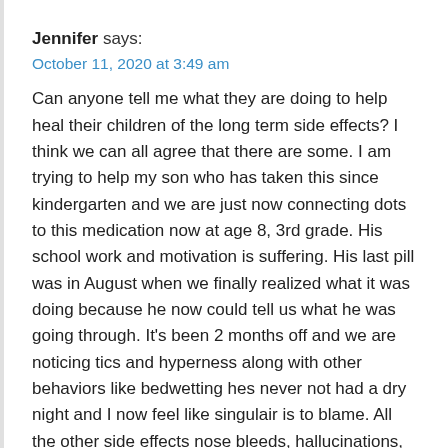Jennifer says:
October 11, 2020 at 3:49 am
Can anyone tell me what they are doing to help heal their children of the long term side effects? I think we can all agree that there are some. I am trying to help my son who has taken this since kindergarten and we are just now connecting dots to this medication now at age 8, 3rd grade. His school work and motivation is suffering. His last pill was in August when we finally realized what it was doing because he now could tell us what he was going through. It's been 2 months off and we are noticing tics and hyperness along with other behaviors like bedwetting hes never not had a dry night and I now feel like singulair is to blame. All the other side effects nose bleeds, hallucinations, nite terrors etc. Seem to have gone away. I hope for